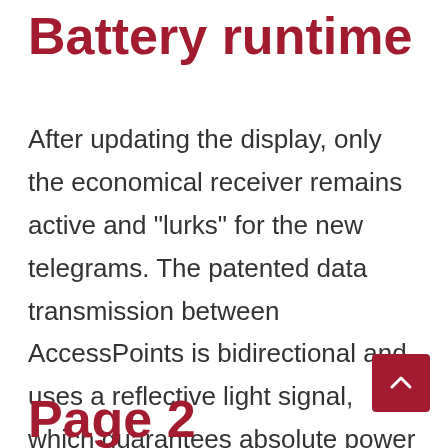Battery runtime
After updating the display, only the economical receiver remains active and "lurks" for the new telegrams. The patented data transmission between AccessPoints is bidirectional and uses a reflective light signal, which guarantees absolute power saving and stability compared to other radio-based market products. The battery lasts for 2-7 years, depending on the frequency of updating
Page 2